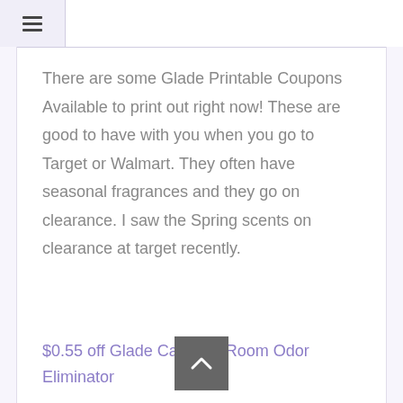☰
There are some Glade Printable Coupons Available to print out right now! These are good to have with you when you go to Target or Walmart. They often have seasonal fragrances and they go on clearance. I saw the Spring scents on clearance at target recently.
$0.55 off Glade Carpet & Room Odor Eliminator